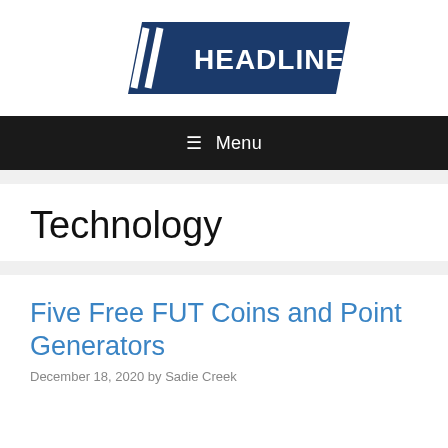[Figure (logo): Headlines IRS logo — dark navy blue parallelogram banner with white bold text 'HEADLINES IRS' and three diagonal white stripes on the left]
☰ Menu
Technology
Five Free FUT Coins and Point Generators
December 18, 2020 by Sadie Creek